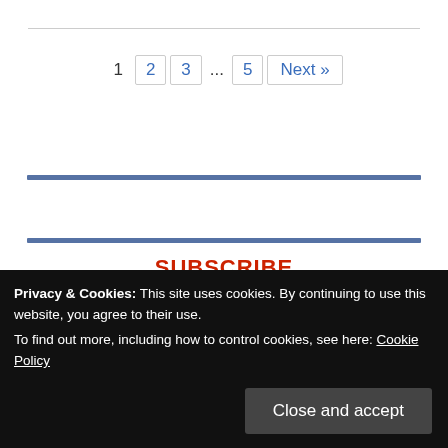1  2  3  ...  5  Next »
SUBSCRIBE
Enter your email address to subscribe to the widely circulated Maravi Post and receive notifications of new posts by email.. Get High Quality Journalism. Types: Culture, Business, Science, Style, Health & Wellness, Politics
Privacy & Cookies: This site uses cookies. By continuing to use this website, you agree to their use.
To find out more, including how to control cookies, see here: Cookie Policy
Close and accept